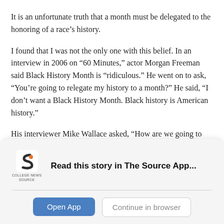It is an unfortunate truth that a month must be delegated to the honoring of a race’s history.
I found that I was not the only one with this belief. In an interview in 2006 on “60 Minutes,” actor Morgan Freeman said Black History Month is “ridiculous.” He went on to ask, “You’re going to relegate my history to a month?” He said, “I don’t want a Black History Month. Black history is American history.”
His interviewer Mike Wallace asked, “How are we going to get rid of racism?”
[Figure (logo): College News Source logo - stylized S icon in dark grey/orange with text COLLEGE NEWS SOURCE beneath]
Read this story in The Source App...
Open App
Continue in browser